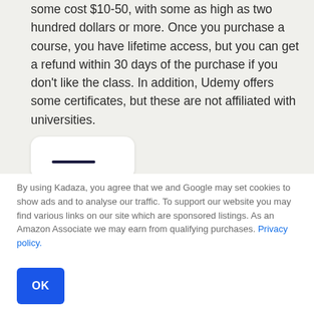some cost $10-50, with some as high as two hundred dollars or more. Once you purchase a course, you have lifetime access, but you can get a refund within 30 days of the purchase if you don't like the class. In addition, Udemy offers some certificates, but these are not affiliated with universities.
[Figure (screenshot): Partial view of a white card UI element with a dark bar, cut off at the bottom of the upper section]
By using Kadaza, you agree that we and Google may set cookies to show ads and to analyse our traffic. To support our website you may find various links on our site which are sponsored listings. As an Amazon Associate we may earn from qualifying purchases. Privacy policy.